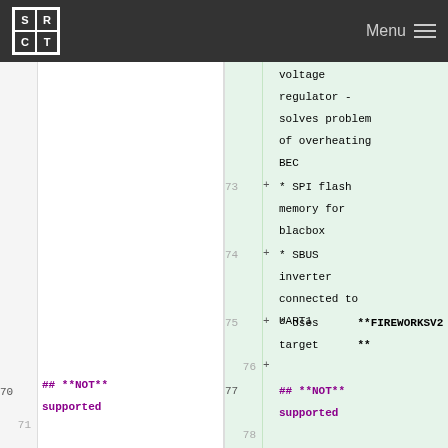SR CT | Menu
| Left line# | Left code | Right line# | + | Right code |
| --- | --- | --- | --- | --- |
|  | voltage regulator - solves problem of overheating BEC |  |  | voltage regulator - solves problem of overheating BEC |
|  |  | 73 | + | * SPI flash memory for blacbox |
|  |  | 74 | + | * SBUS inverter connected to UART1 |
|  |  | 75 | + | * Uses target **FIREWORKSV2** |
|  |  | 76 | + |  |
| 70 | ## **NOT** supported | 77 |  | ## **NOT** supported |
| 71 |  | 78 |  |  |
| 72 | * HC-SR04 Rangefinder | 79 |  | * HC-SR04 Rangefinder |